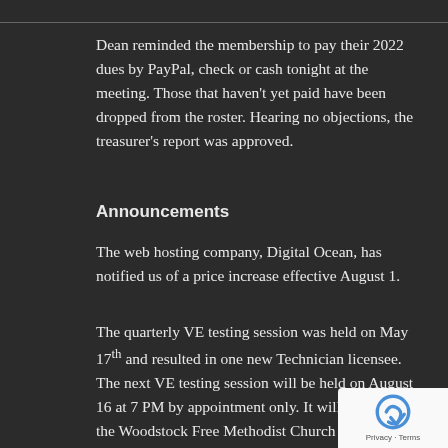Dean reminded the membership to pay their 2022 dues by PayPal, check or cash tonight at the meeting. Those that haven't yet paid have been dropped from the roster. Hearing no objections, the treasurer's report was approved.
Announcements
The web hosting company, Digital Ocean, has notified us of a price increase effective August 1.
The quarterly VE testing session was held on May 17th and resulted in one new Technician licensee. The next VE testing session will be held on August 16 at 7 PM by appointment only. It will be held at the Woodstock Free Methodist Church at 934 N. Seminary. Contact Steve (KB9OLD) at 847-477-